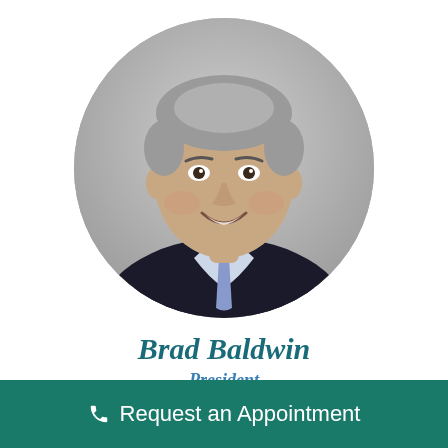[Figure (photo): Professional headshot of Brad Baldwin, a middle-aged man with gray hair wearing a dark suit and blue tie, displayed in a circular crop against a gray background]
Brad Baldwin
President
Doctor of Audiology
Request an Appointment